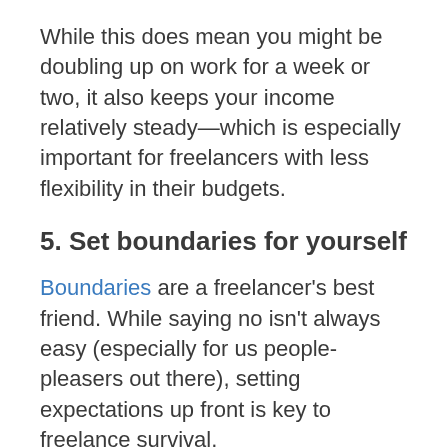While this does mean you might be doubling up on work for a week or two, it also keeps your income relatively steady—which is especially important for freelancers with less flexibility in their budgets.
5. Set boundaries for yourself
Boundaries are a freelancer's best friend. While saying no isn't always easy (especially for us people-pleasers out there), setting expectations up front is key to freelance survival.
That's why I plan to fully unplug on this vacation. No checking my email, no following up on work, nothing. For a recovering perfectionist and anxious business owner,